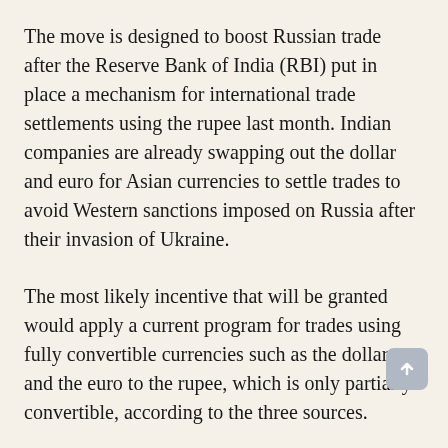The move is designed to boost Russian trade after the Reserve Bank of India (RBI) put in place a mechanism for international trade settlements using the rupee last month. Indian companies are already swapping out the dollar and euro for Asian currencies to settle trades to avoid Western sanctions imposed on Russia after their invasion of Ukraine.
The most likely incentive that will be granted would apply a current program for trades using fully convertible currencies such as the dollar and the euro to the rupee, which is only partially convertible, according to the three sources.
Under the existing programme, Indian exporters receive